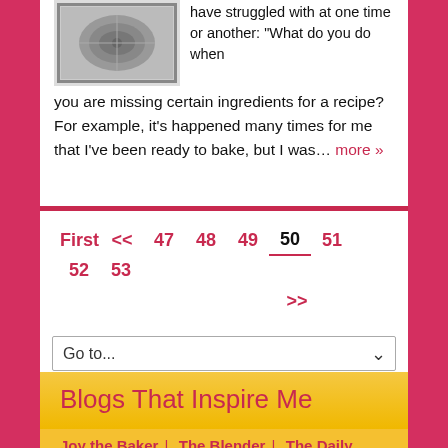[Figure (photo): Thumbnail photo of a baked dish or plate of food, shown in grayscale/muted tones]
have struggled with at one time or another: “What do you do when you are missing certain ingredients for a recipe? For example, it’s happened many times for me that I’ve been ready to bake, but I was… more »
First << 47 48 49 50 51 52 53 >>
Go to...
Blogs That Inspire Me
Joy the Baker | The Blender | The Daily Meal | The Italian Dish |